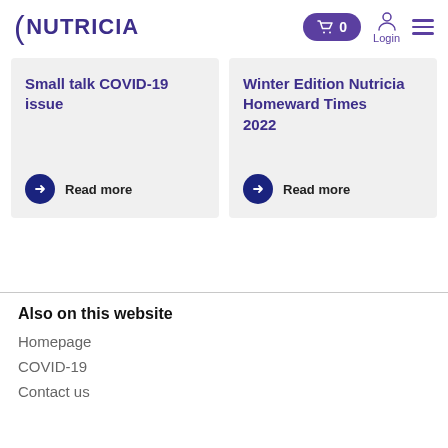NUTRICIA | 0 | Login
Small talk COVID-19 issue
Read more
Winter Edition Nutricia Homeward Times 2022
Read more
Also on this website
Homepage
COVID-19
Contact us